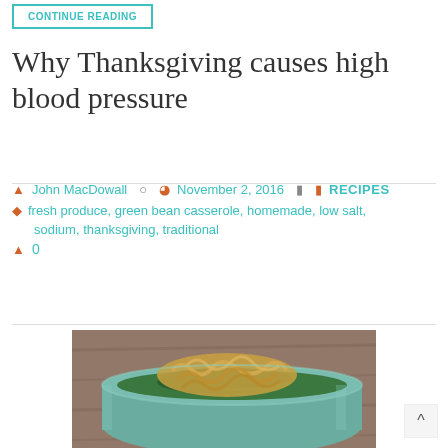CONTINUE READING
Why Thanksgiving causes high blood pressure
John MacDowall   November 2, 2016   RECIPES
fresh produce, green bean casserole, homemade, low salt, sodium, thanksgiving, traditional
0
[Figure (photo): A green bean casserole dish with fried onion topping on a wooden surface background]